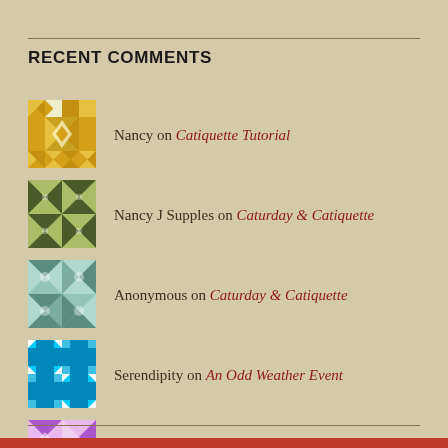RECENT COMMENTS
Nancy on Catiquette Tutorial
Nancy J Supples on Caturday & Catiquette
Anonymous on Caturday & Catiquette
Serendipity on An Odd Weather Event
Laurel Arnold on An Odd Weather Event